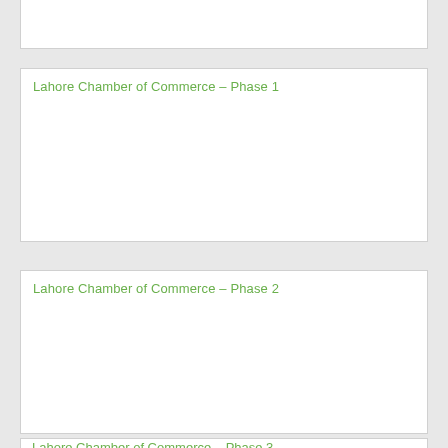Lahore Chamber of Commerce – Phase 1
Lahore Chamber of Commerce – Phase 2
Lahore Chamber of Commerce – Phase 3 (partial)